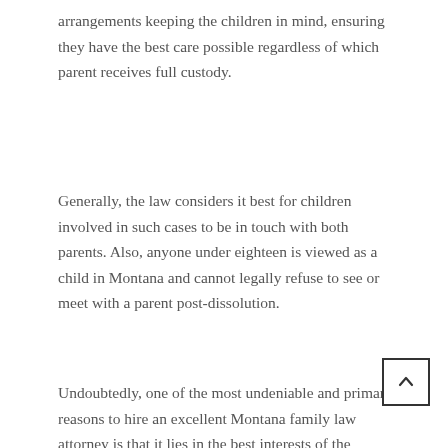arrangements keeping the children in mind, ensuring they have the best care possible regardless of which parent receives full custody.
Generally, the law considers it best for children involved in such cases to be in touch with both parents. Also, anyone under eighteen is viewed as a child in Montana and cannot legally refuse to see or meet with a parent post-dissolution.
Undoubtedly, one of the most undeniable and primary reasons to hire an excellent Montana family law attorney is that it lies in the best interests of the children. The legal specialist can help locals deal with these situations efficiently and quickly, ensuring